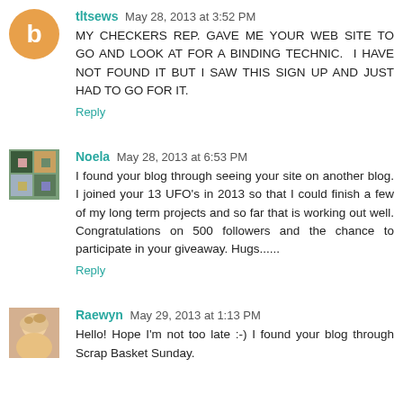tltsews May 28, 2013 at 3:52 PM
MY CHECKERS REP. GAVE ME YOUR WEB SITE TO GO AND LOOK AT FOR A BINDING TECHNIC. I HAVE NOT FOUND IT BUT I SAW THIS SIGN UP AND JUST HAD TO GO FOR IT.
Reply
Noela May 28, 2013 at 6:53 PM
I found your blog through seeing your site on another blog. I joined your 13 UFO's in 2013 so that I could finish a few of my long term projects and so far that is working out well. Congratulations on 500 followers and the chance to participate in your giveaway. Hugs......
Reply
Raewyn May 29, 2013 at 1:13 PM
Hello! Hope I'm not too late :-) I found your blog through Scrap Basket Sunday.